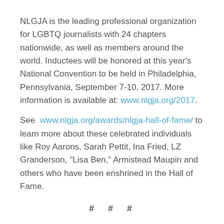NLGJA is the leading professional organization for LGBTQ journalists with 24 chapters nationwide, as well as members around the world. Inductees will be honored at this year's National Convention to be held in Philadelphia, Pennsylvania, September 7-10, 2017. More information is available at: www.nlgja.org/2017.
See www.nlgja.org/awards/nlgja-hall-of-fame/ to learn more about these celebrated individuals like Roy Aarons, Sarah Pettit, Ina Fried, LZ Granderson, "Lisa Ben," Armistead Maupin and others who have been enshrined in the Hall of Fame.
# # #
About NLGJA – The Association of LGBTQ Journalists:
NLGJA is an organization of journalists, news